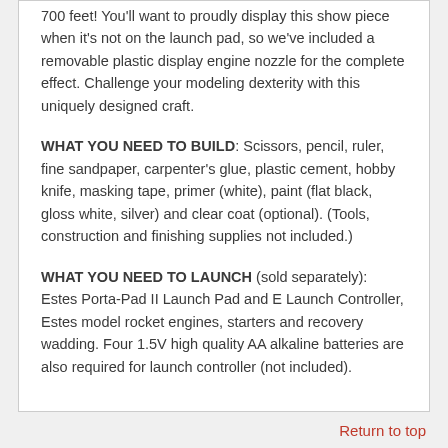700 feet! You'll want to proudly display this show piece when it's not on the launch pad, so we've included a removable plastic display engine nozzle for the complete effect. Challenge your modeling dexterity with this uniquely designed craft.
WHAT YOU NEED TO BUILD: Scissors, pencil, ruler, fine sandpaper, carpenter's glue, plastic cement, hobby knife, masking tape, primer (white), paint (flat black, gloss white, silver) and clear coat (optional). (Tools, construction and finishing supplies not included.)
WHAT YOU NEED TO LAUNCH (sold separately): Estes Porta-Pad II Launch Pad and E Launch Controller, Estes model rocket engines, starters and recovery wadding. Four 1.5V high quality AA alkaline batteries are also required for launch controller (not included).
Return to top